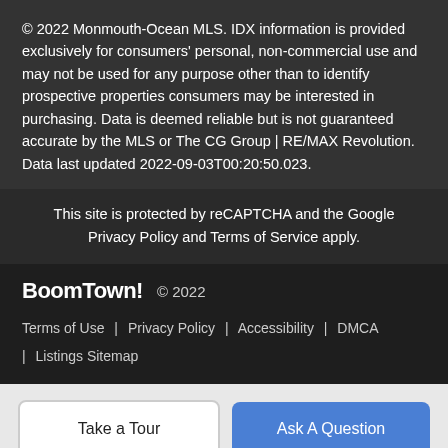© 2022 Monmouth-Ocean MLS. IDX information is provided exclusively for consumers' personal, non-commercial use and may not be used for any purpose other than to identify prospective properties consumers may be interested in purchasing. Data is deemed reliable but is not guaranteed accurate by the MLS or The CG Group | RE/MAX Revolution. Data last updated 2022-09-03T00:20:50.023.
This site is protected by reCAPTCHA and the Google Privacy Policy and Terms of Service apply.
BoomTown! © 2022  Terms of Use | Privacy Policy | Accessibility | DMCA | Listings Sitemap
Take a Tour   Ask A Question